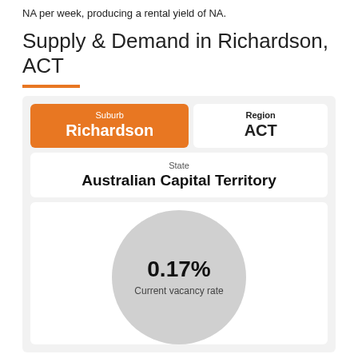NA per week, producing a rental yield of NA.
Supply & Demand in Richardson, ACT
| Suburb | Region | State |
| --- | --- | --- |
| Richardson | ACT | Australian Capital Territory |
[Figure (infographic): Large grey circle showing current vacancy rate of 0.17%]
0.17%
Current vacancy rate